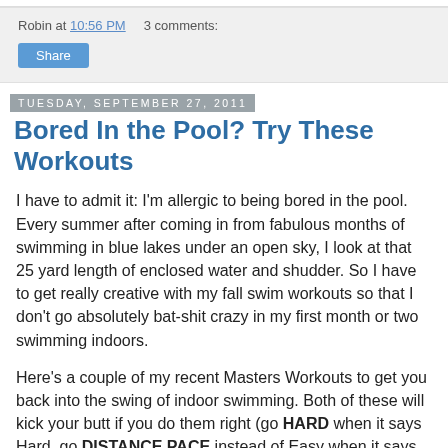Robin at 10:56 PM   3 comments:
Share
Tuesday, September 27, 2011
Bored In the Pool? Try These Workouts
I have to admit it: I'm allergic to being bored in the pool. Every summer after coming in from fabulous months of swimming in blue lakes under an open sky, I look at that 25 yard length of enclosed water and shudder. So I have to get really creative with my fall swim workouts so that I don't go absolutely bat-shit crazy in my first month or two swimming indoors.
Here's a couple of my recent Masters Workouts to get you back into the swing of indoor swimming. Both of these will kick your butt if you do them right (go HARD when it says Hard, go DISTANCE PACE instead of Easy when it says